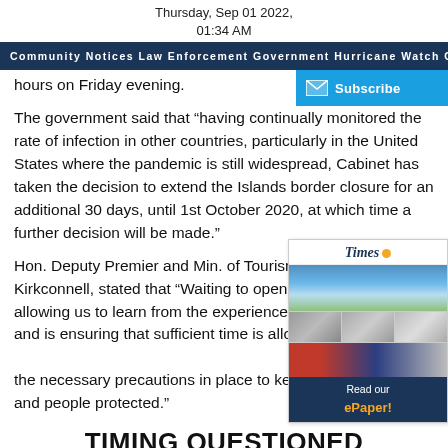Thursday, Sep 01 2022,
01:34 AM
Community Notices  Law Enforcement  Government  Hurricane Watch  CO
hours on Friday evening.
The government said that “having continually monitored the rate of infection in other countries, particularly in the United States where the pandemic is still widespread, Cabinet has taken the decision to extend the Islands border closure for an additional 30 days, until 1st October 2020, at which time a further decision will be made.”
Hon. Deputy Premier and Min. of Tourism, Moses Kirkconnell, stated that “Waiting to open our borders is allowing us to learn from the experiences of other countries and is ensuring that sufficient time is allocated to putting all of the necessary precautions in place to keep our Islands and people protected.”
[Figure (other): Subscribe button with email icon]
[Figure (other): Cayman Islands Times ePaper widget with Read our ePaper button and newspaper thumbnail images]
TIMING QUESTIONED